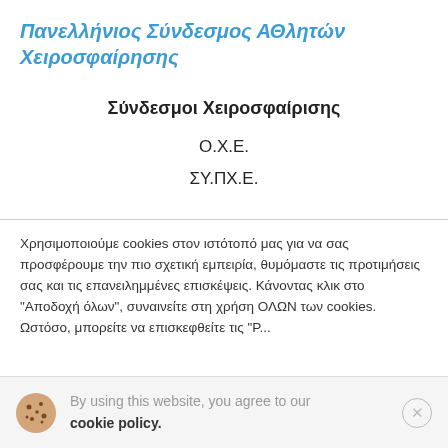Πανελλήνιος Σύνδεσμος ΑΘλητών Χειροσφαίρησης
Σύνδεσμοι Χειροσφαίρισης
Ο.Χ.Ε.
ΣΥ.ΠΧ.Ε.
Χρησιμοποιούμε cookies στον ιστότοπό μας για να σας προσφέρουμε την πιο σχετική εμπειρία, θυμόμαστε τις προτιμήσεις σας και τις επανειλημμένες επισκέψεις. Κάνοντας κλικ στο "Αποδοχή όλων", συναινείτε στη χρήση ΟΛΩΝ των cookies. Ωστόσο, μπορείτε να επισκεφθείτε τις "Ρ..."
By using this website, you agree to our cookie policy.